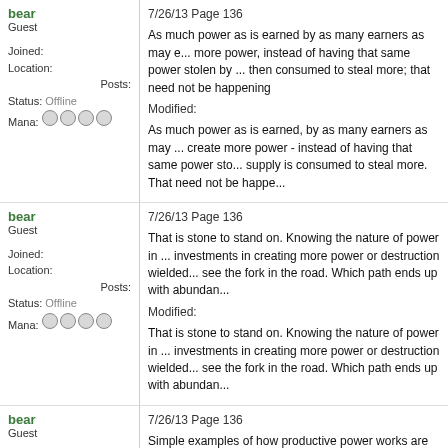bear
Guest
Joined:
Location:
Posts:
Status: Offline
Mana: oooo
7/26/13 Page 136
As much power as is earned by as many earners as may e... more power, instead of having that same power stolen by ... then consumed to steal more; that need not be happening
Modified:
As much power as is earned, by as many earners as may ... create more power - instead of having that same power sto... supply is consumed to steal more. That need not be happe...
bear
Guest
Joined:
Location:
Posts:
Status: Offline
Mana: oooo
7/26/13 Page 136
That is stone to stand on. Knowing the nature of power in ... investments in creating more power or destruction wielded... see the fork in the road. Which path ends up with abundan...
Modified:
That is stone to stand on. Knowing the nature of power in ... investments in creating more power or destruction wielded... see the fork in the road. Which path ends up with abundan...
bear
Guest
Joined:
Location:
Posts:
Status: Offline
Mana: oooo
7/26/13 Page 136
Simple examples of how productive power works are abun... side of the road while driving in a car on a highway, or look... where less power is made into more power.
Modified:
Simple examples of how productive power works are abun... side of the road while driving in a car on a highway, or look... where less power is made into more power.
bear
7/26/13 Page 136